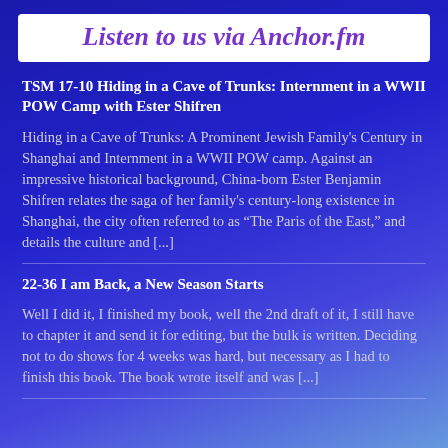Listen to us via Anchor.fm
TSM 17-10 Hiding in a Cave of Trunks: Internment in a WWII POW Camp with Ester Shifren
Hiding in a Cave of Trunks: A Prominent Jewish Family's Century in Shanghai and Internment in a WWII POW camp. Against an impressive historical background, China-born Ester Benjamin Shifren relates the saga of her family's century-long existence in Shanghai, the city often referred to as “The Paris of the East,” and details the culture and [...]
22-36 I am Back, a New Season Starts
Well I did it, I finished my book, well the 2nd draft of it, I still have to chapter it and send it for editing, but the bulk is written. Deciding not to do shows for 4 weeks was hard, but necessary as I had to finish this book. The book wrote itself and was [...]